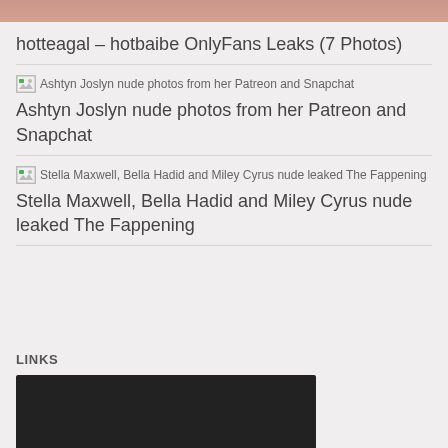[Figure (photo): Partial cropped image at top of page, skin-toned colors]
hotteagal – hotbaibe OnlyFans Leaks (7 Photos)
[Figure (photo): Broken image thumbnail for Ashtyn Joslyn nude photos from her Patreon and Snapchat]
Ashtyn Joslyn nude photos from her Patreon and Snapchat
[Figure (photo): Broken image thumbnail for Stella Maxwell, Bella Hadid and Miley Cyrus nude leaked The Fappening]
Stella Maxwell, Bella Hadid and Miley Cyrus nude leaked The Fappening
LINKS
[Figure (photo): Dark/black image block in the links section]